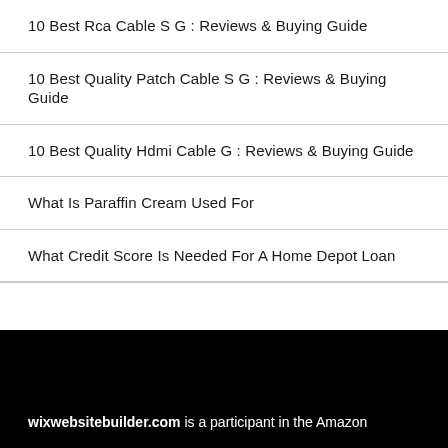10 Best Rca Cable S G : Reviews & Buying Guide
10 Best Quality Patch Cable S G : Reviews & Buying Guide
10 Best Quality Hdmi Cable G : Reviews & Buying Guide
What Is Paraffin Cream Used For
What Credit Score Is Needed For A Home Depot Loan
wixwebsitebuilder.com is a participant in the Amazon